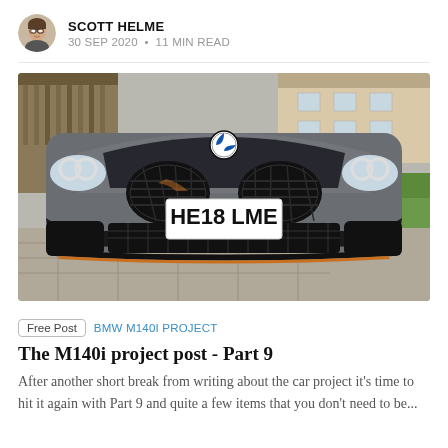SCOTT HELME
30 SEP 2020 • 11 MIN READ
[Figure (photo): Front view of a grey BMW M140i with registration plate HE18 LME, black kidney grilles, orange accent on front lip spoiler, parked on a driveway with greenery and a house in the background.]
Free Post   BMW M140I PROJECT
The M140i project post - Part 9
After another short break from writing about the car project it's time to hit it again with Part 9 and quite a few items that you don't need to be...